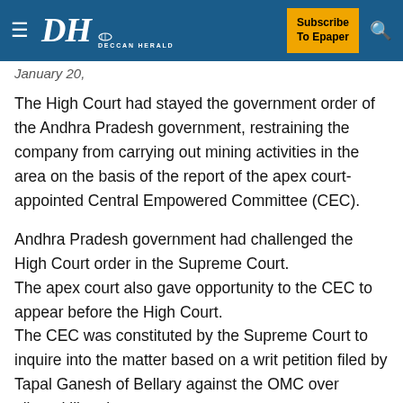Deccan Herald — Subscribe To Epaper
January 20,
The High Court had stayed the government order of the Andhra Pradesh government, restraining the company from carrying out mining activities in the area on the basis of the report of the apex court-appointed Central Empowered Committee (CEC).
Andhra Pradesh government had challenged the High Court order in the Supreme Court.
The apex court also gave opportunity to the CEC to appear before the High Court.
The CEC was constituted by the Supreme Court to inquire into the matter based on a writ petition filed by Tapal Ganesh of Bellary against the OMC over alleged illegal